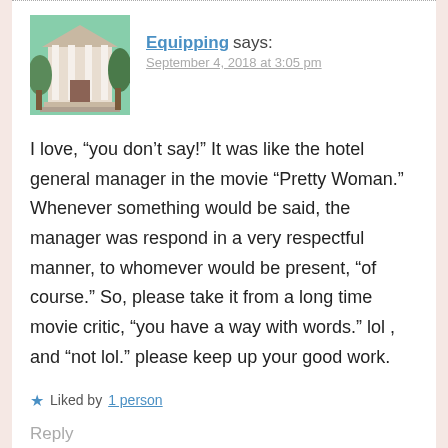Equipping says:
September 4, 2018 at 3:05 pm
I love, “you don’t say!” It was like the hotel general manager in the movie “Pretty Woman.” Whenever something would be said, the manager was respond in a very respectful manner, to whomever would be present, “of course.” So, please take it from a long time movie critic, “you have a way with words.” lol , and “not lol.” please keep up your good work.
Liked by 1 person
Reply